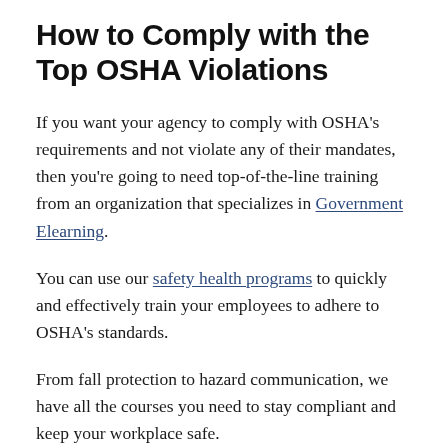How to Comply with the Top OSHA Violations
If you want your agency to comply with OSHA's requirements and not violate any of their mandates, then you're going to need top-of-the-line training from an organization that specializes in Government Elearning.
You can use our safety health programs to quickly and effectively train your employees to adhere to OSHA's standards.
From fall protection to hazard communication, we have all the courses you need to stay compliant and keep your workplace safe.